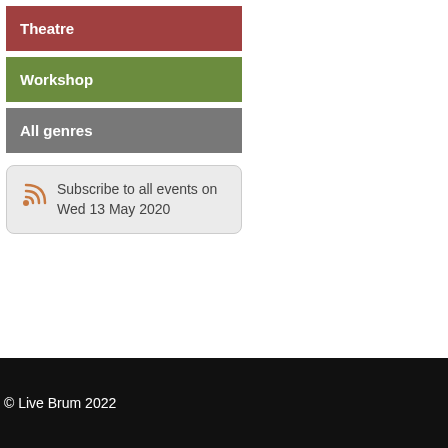Theatre
Workshop
All genres
Subscribe to all events on Wed 13 May 2020
© Live Brum 2022